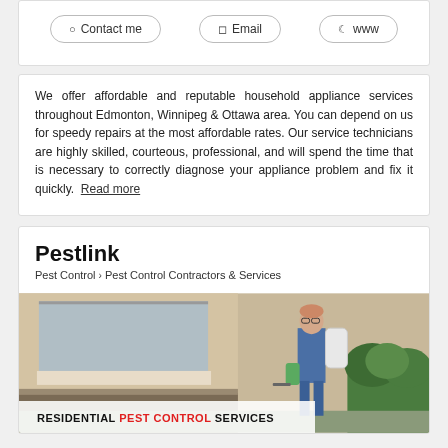Contact me | Email | www
We offer affordable and reputable household appliance services throughout Edmonton, Winnipeg & Ottawa area. You can depend on us for speedy repairs at the most affordable rates. Our service technicians are highly skilled, courteous, professional, and will spend the time that is necessary to correctly diagnose your appliance problem and fix it quickly. Read more
Pestlink
Pest Control > Pest Control Contractors & Services
[Figure (photo): A pest control technician wearing blue uniform and green gloves, carrying a white spray tank on their back, spraying near the exterior of a building with bushes. Overlay text reads: RESIDENTIAL PEST CONTROL SERVICES]